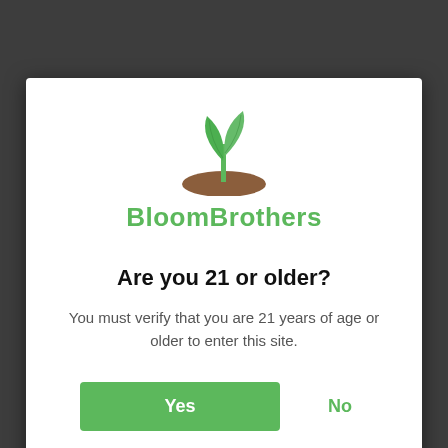[Figure (logo): BloomBrothers logo: green seedling with two leaves sprouting from a brown mound of soil]
BloomBrothers
Are you 21 or older?
You must verify that you are 21 years of age or older to enter this site.
Yes  No